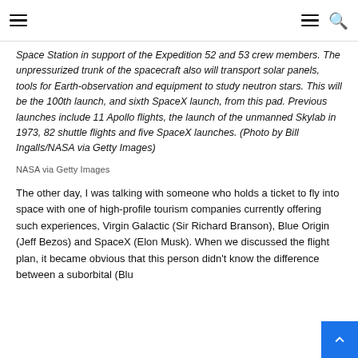[Navigation header with hamburger menu and search icon]
Space Station in support of the Expedition 52 and 53 crew members. The unpressurized trunk of the spacecraft also will transport solar panels, tools for Earth-observation and equipment to study neutron stars. This will be the 100th launch, and sixth SpaceX launch, from this pad. Previous launches include 11 Apollo flights, the launch of the unmanned Skylab in 1973, 82 shuttle flights and five SpaceX launches. (Photo by Bill Ingalls/NASA via Getty Images)
NASA via Getty Images
The other day, I was talking with someone who holds a ticket to fly into space with one of high-profile tourism companies currently offering such experiences, Virgin Galactic (Sir Richard Branson), Blue Origin (Jeff Bezos) and SpaceX (Elon Musk). When we discussed the flight plan, it became obvious that this person didn't know the difference between a suborbital (Blu…